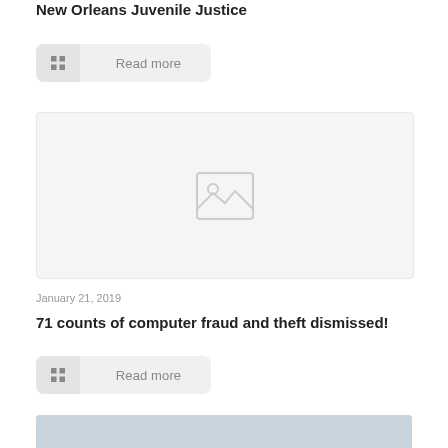New Orleans Juvenile Justice
[Figure (other): Read more button with grid icon]
[Figure (photo): Placeholder image with mountain/landscape icon]
January 21, 2019
71 counts of computer fraud and theft dismissed!
[Figure (other): Read more button with grid icon]
[Figure (photo): Partial photo at bottom of page]